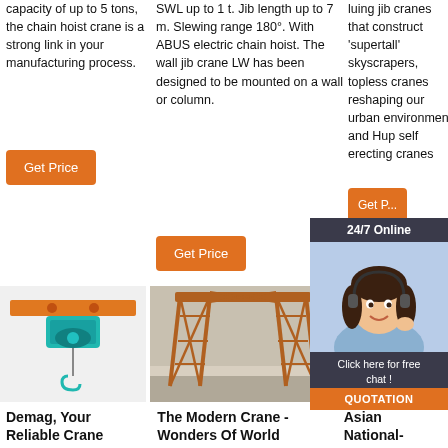capacity of up to 5 tons, the chain hoist crane is a strong link in your manufacturing process.
SWL up to 1 t. Jib length up to 7 m. Slewing range 180°. With ABUS electric chain hoist. The wall jib crane LW has been designed to be mounted on a wall or column.
luing jib cranes that construct 'supertall' skyscrapers, topless cranes reshaping our urban environment and Hup self erecting cranes
[Figure (screenshot): Woman with headset - 24/7 Online chat support widget with QUOTATION button]
[Figure (photo): Demag chain hoist crane with teal/green electric hoist unit hanging from orange beam]
[Figure (photo): Large rusty red lattice gantry crane structure outdoors]
[Figure (photo): Indoor overhead bridge crane in industrial building]
Demag, Your Reliable Crane
The Modern Crane - Wonders Of World
Asian National- Cranes